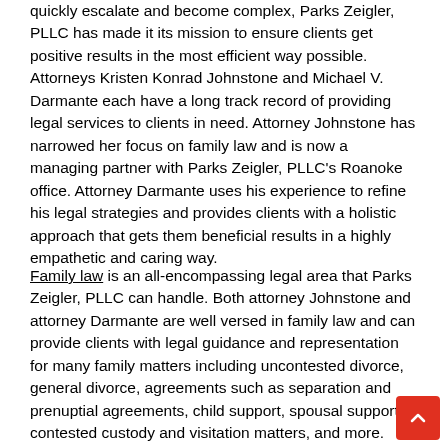quickly escalate and become complex, Parks Zeigler, PLLC has made it its mission to ensure clients get positive results in the most efficient way possible. Attorneys Kristen Konrad Johnstone and Michael V. Darmante each have a long track record of providing legal services to clients in need. Attorney Johnstone has narrowed her focus on family law and is now a managing partner with Parks Zeigler, PLLC's Roanoke office. Attorney Darmante uses his experience to refine his legal strategies and provides clients with a holistic approach that gets them beneficial results in a highly empathetic and caring way.
Family law is an all-encompassing legal area that Parks Zeigler, PLLC can handle. Both attorney Johnstone and attorney Darmante are well versed in family law and can provide clients with legal guidance and representation for many family matters including uncontested divorce, general divorce, agreements such as separation and prenuptial agreements, child support, spousal support, contested custody and visitation matters, and more.